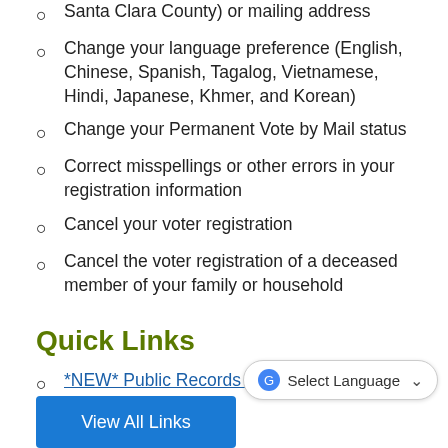Santa Clara County) or mailing address
Change your language preference (English, Chinese, Spanish, Tagalog, Vietnamese, Hindi, Japanese, Khmer, and Korean)
Change your Permanent Vote by Mail status
Correct misspellings or other errors in your registration information
Cancel your voter registration
Cancel the voter registration of a deceased member of your family or household
Quick Links
*NEW* Public Records Request Center
View All Links